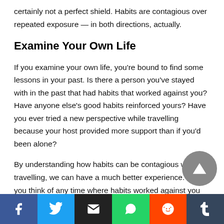certainly not a perfect shield. Habits are contagious over repeated exposure — in both directions, actually.
Examine Your Own Life
If you examine your own life, you're bound to find some lessons in your past. Is there a person you've stayed with in the past that had habits that worked against you? Have anyone else's good habits reinforced yours? Have you ever tried a new perspective while travelling because your host provided more support than if you'd been alone?
By understanding how habits can be contagious while travelling, we can have a much better experience. Can you think of any time where habits worked against you (or with you) while travelling? Has someone ever transformed you into a nocturnal creature?
[Figure (other): Social share buttons bar: Facebook, Twitter, Email, WhatsApp, Reddit, Tumblr]